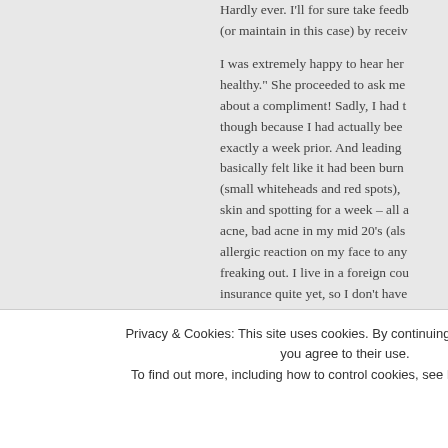Hardly ever. I'll for sure take feedb (or maintain in this case) by receiv

I was extremely happy to hear her healthy." She proceeded to ask me about a compliment! Sadly, I had t though because I had actually bee exactly a week prior. And leading basically felt like it had been burn (small whiteheads and red spots), skin and spotting for a week – all a acne, bad acne in my mid 20's (als allergic reaction on my face to any freaking out. I live in a foreign cou insurance quite yet, so I don't have
Privacy & Cookies: This site uses cookies. By continuing to use this website, you agree to their use.
To find out more, including how to control cookies, see here: Cookie Policy
Close and accept